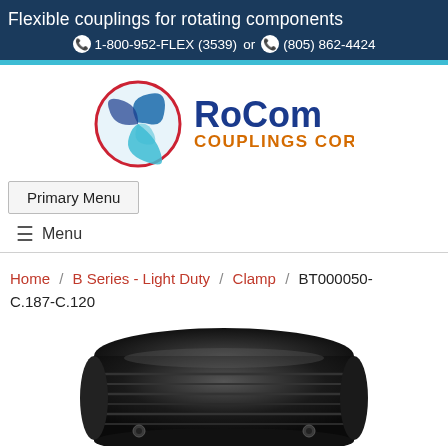Flexible couplings for rotating components
📞 1-800-952-FLEX (3539) or 📞 (805) 862-4424
[Figure (logo): RoCom Couplings Corp logo with swirl graphic in blue/red circle and bold blue/orange text]
Primary Menu
≡ Menu
Home / B Series - Light Duty / Clamp / BT000050-C.187-C.120
[Figure (photo): Close-up photo of a black anodized aluminum flexible beam coupling (clamp style) showing ridged cylindrical body with clamp screws]